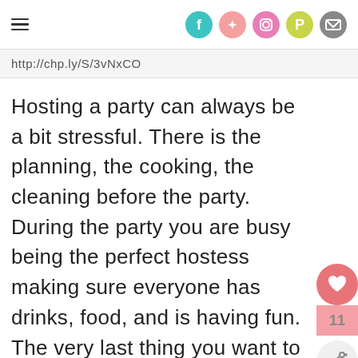http://chp.ly/S/3vNxCO — social icons: Facebook, Twitter, Instagram, Pinterest, Email
http://chp.ly/S/3vNxCO
Hosting a party can always be a bit stressful. There is the planning, the cooking, the cleaning before the party. During the party you are busy being the perfect hostess making sure everyone has drinks, food, and is having fun. The very last thing you want to have to worry about is causing one of your guest's embarrassment by running out of toilet paper.